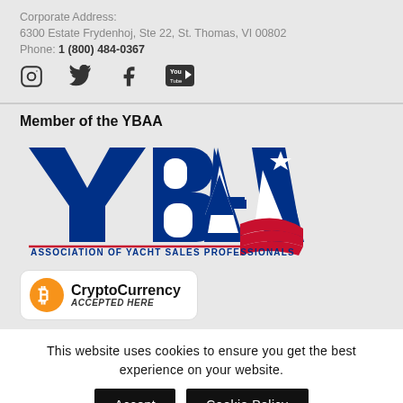Corporate Address:
6300 Estate Frydenhoj, Ste 22, St. Thomas, VI 00802
Phone: 1 (800) 484-0367
[Figure (infographic): Social media icons: Instagram, Twitter, Facebook, YouTube]
Member of the YBAA
[Figure (logo): YBAA logo - Association of Yacht Sales Professionals, with large blue letters YBAA, a star, and red stripe elements]
[Figure (logo): CryptoCurrency Accepted Here badge with orange Bitcoin icon]
This website uses cookies to ensure you get the best experience on your website.